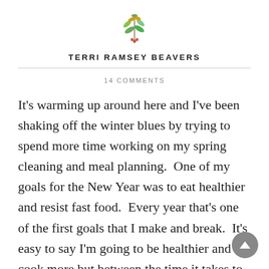[Figure (logo): Decorative botanical/leaf logo icon in green and gold colors]
TERRI RAMSEY BEAVERS
14 COMMENTS
It's warming up around here and I've been shaking off the winter blues by trying to spend more time working on my spring cleaning and meal planning.  One of my goals for the New Year was to eat healthier and resist fast food.  Every year that's one of the first goals that I make and break.  It's easy to say I'm going to be healthier and cook more but between the time it takes to source recipes and substitutes them to fit my family's lifestyle (and let's be